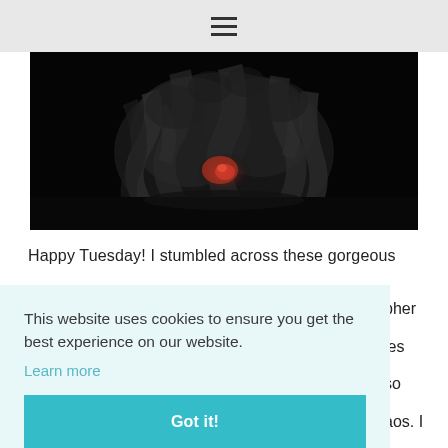☰ (hamburger menu icon)
[Figure (photo): Dark dramatic photo of smoke and glowing red embers against a black background]
Happy Tuesday! I stumbled across these gorgeous
This website uses cookies to ensure you get the best experience on our website.
Learn more
Got it!
pher
ies
so
aos. I
most
hing
ne
one of them all on there with their kind and gorgeous f